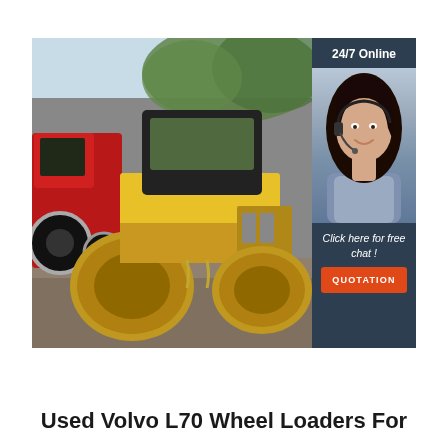[Figure (photo): Photo of a yellow road roller / compactor machine parked on a dirt area, with red tractors visible in the background and green trees behind. Overlaid on the right side is a '24/7 Online' chat widget showing a female customer service agent with a headset, and an orange 'QUOTATION' button.]
Used Volvo L70 Wheel Loaders For